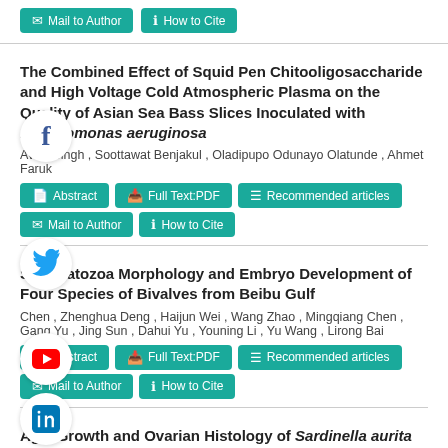Mail to Author | How to Cite
The Combined Effect of Squid Pen Chitooligosaccharide and High Voltage Cold Atmospheric Plasma on the Quality of Asian Sea Bass Slices Inoculated with Pseudomonas aeruginosa
Avter Singh , Soottawat Benjakul , Oladipupo Odunayo Olatunde , Ahmet Faruk
Abstract | Full Text:PDF | Recommended articles
Mail to Author | How to Cite
Spermatozoa Morphology and Embryo Development of Four Species of Bivalves from Beibu Gulf
Chen , Zhenghua Deng , Haijun Wei , Wang Zhao , Mingqiang Chen , Gang Yu , Jing Sun , Dahui Yu , Youning Li , Yu Wang , Lirong Bai
Abstract | Full Text:PDF | Recommended articles
Mail to Author | How to Cite
Age, Growth and Ovarian Histology of Sardinella aurita (Valenciennes, 1847) in the South of Atlantic Moroccan Coast